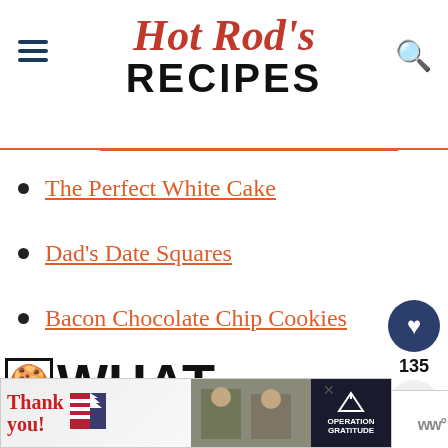Hot Rod's RECIPES
The Perfect White Cake
Dad's Date Squares
Bacon Chocolate Chip Cookies
🍪 WHAT INGREDIENTS DO I NEED
[Figure (screenshot): Operation Gratitude thank you advertisement banner]
WHAT'S NEXT → Bacon Chocolate...
135